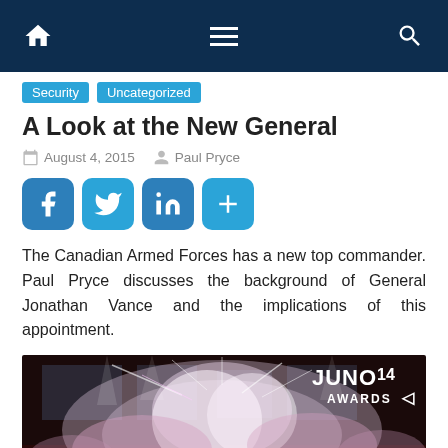Navigation bar with home, menu, and search icons
Security  Uncategorized
A Look at the New General
August 4, 2015   Paul Pryce
[Figure (screenshot): Social share buttons: Facebook, Twitter, LinkedIn, and a plus/share button]
The Canadian Armed Forces has a new top commander. Paul Pryce discusses the background of General Jonathan Vance and the implications of this appointment.
[Figure (photo): Concert stage photo with fireworks/pyrotechnics effect, silhouettes of musicians, JUNO 14 AWARDS logo in upper right corner]